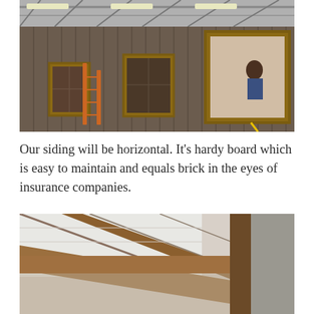[Figure (photo): Exterior view of a building under construction with vertical wood board siding, multiple framed windows with brown wood trim, a ladder leaning against the wall, fluorescent lighting in the ceiling, and a worker visible through an open window opening]
Our siding will be horizontal. It’s hardy board which is easy to maintain and equals brick in the eyes of insurance companies.
[Figure (photo): Interior ceiling view of a building under construction showing exposed wooden beam framing at a corner junction, white insulation panels on the ceiling, and gray concrete or metal wall surfaces]